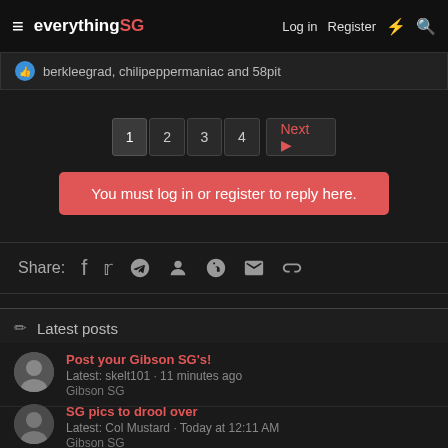everythingSG — Log in | Register
berkleegrad, chilipeppermaniac and 58pit
1 2 3 4 Next
You must log in or register to reply here.
Share: Facebook Twitter Reddit Pinterest Tumblr WhatsApp Email Link
Latest posts
Post your Gibson SG's!
Latest: skelt101 · 11 minutes ago
Gibson SG
SG pics to drool over
Latest: Col Mustard · Today at 12:11 AM
Gibson SG